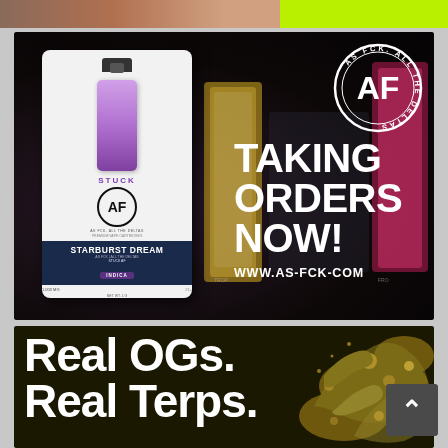[Figure (photo): Partially visible top strip with a person's face on left and bright yellow-green area on right]
[Figure (illustration): Advertisement for STUCK AF cannabis vape cartridge (Starburst Dream, Indica) with AF circular logo, text 'TAKING ORDERS NOW!' and website 'WWW.AS-FCK-COM' on dark background]
[Figure (illustration): Advertisement with large white bold text 'Real OGs. Real Terps.' on dark olive/black background with decorative cannabis-themed artwork on right, partially cut off at bottom]